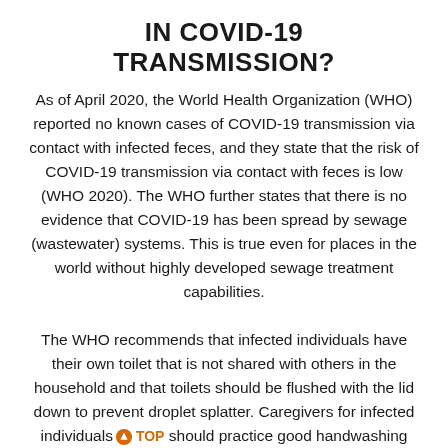IN COVID-19 TRANSMISSION?
As of April 2020, the World Health Organization (WHO) reported no known cases of COVID-19 transmission via contact with infected feces, and they state that the risk of COVID-19 transmission via contact with feces is low (WHO 2020). The WHO further states that there is no evidence that COVID-19 has been spread by sewage (wastewater) systems. This is true even for places in the world without highly developed sewage treatment capabilities.
The WHO recommends that infected individuals have their own toilet that is not shared with others in the household and that toilets should be flushed with the lid down to prevent droplet splatter. Caregivers for infected individuals should practice good handwashing hygiene after